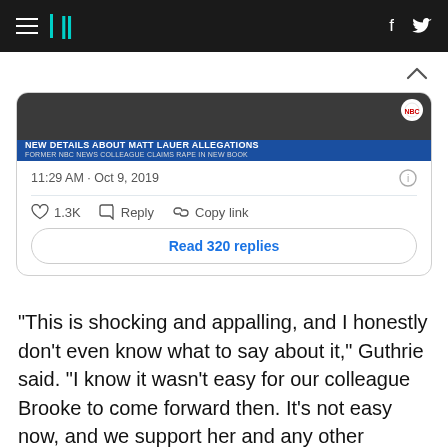HuffPost navigation bar with hamburger menu, logo, facebook and twitter icons
[Figure (screenshot): Tweet card showing a news image with headline 'NEW DETAILS ABOUT MATT LAUER ALLEGATIONS' and sub-headline 'FORMER NBC NEWS COLLEAGUE CLAIMS RAPE IN NEW BOOK', timestamp 11:29 AM · Oct 9, 2019, 1.3K likes, Reply, Copy link, and Read 320 replies button]
“This is shocking and appalling, and I honestly don’t even know what to say about it,” Guthrie said. “I know it wasn’t easy for our colleague Brooke to come forward then. It’s not easy now, and we support her and any other women who